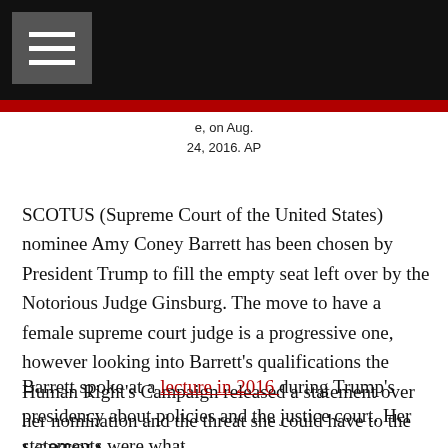[Newspaper header bar with hamburger menu]
e, on Aug. 24, 2016. AP
SCOTUS (Supreme Court of the United States) nominee Amy Coney Barrett has been chosen by President Trump to fill the empty seat left over by the Notorious Judge Ginsburg. The move to have a female supreme court judge is a progressive one, however looking into Barrett's qualifications the Human Right's Campaign released a statement over her nomination and the threat she could have to the LGBTQIA community.
Barrett spoke at a lecture in 2016 during Trump's presidency about policies and the justice court. Her statements were what